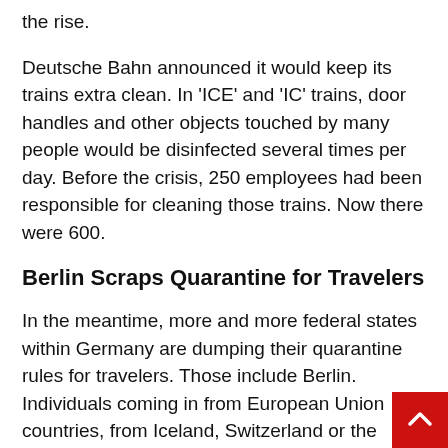the rise.
Deutsche Bahn announced it would keep its trains extra clean. In 'ICE' and 'IC' trains, door handles and other objects touched by many people would be disinfected several times per day. Before the crisis, 250 employees had been responsible for cleaning those trains. Now there were 600.
Berlin Scraps Quarantine for Travelers
In the meantime, more and more federal states within Germany are dumping their quarantine rules for travelers. Those include Berlin. Individuals coming in from European Union countries, from Iceland, Switzerland or the United Kingdom do not have to go into a 14-day quarantine anymore.